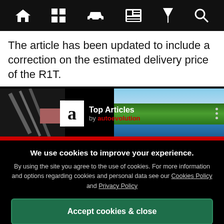[Figure (screenshot): Navigation bar with icons: home, grid, car, newspaper, filter/cocktail, search — white icons on black background]
The article has been updated to include a correction on the estimated delivery price of the R1T.
[Figure (screenshot): Banner showing 'Top Articles by autoevolution' with a large letter A logo on white box, scenic green island background on right, red bar at bottom]
We use cookies to improve your experience. By using the site you agree to the use of cookies. For more information and options regarding cookies and personal data see our Cookies Policy and Privacy Policy
Accept cookies & close
California residents: Do Not Sell My Info